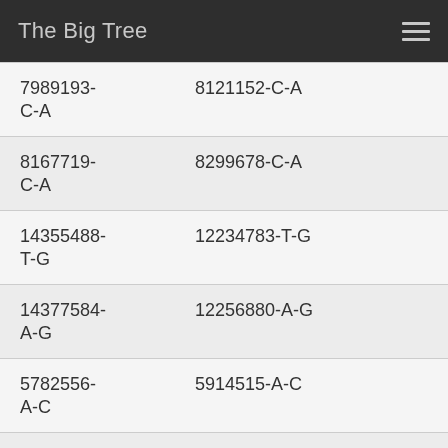The Big Tree
| Col1 | Col2 |
| --- | --- |
| 7989193-C-A | 8121152-C-A |
| 8167719-C-A | 8299678-C-A |
| 14355488-T-G | 12234783-T-G |
| 14377584-A-G | 12256880-A-G |
| 5782556-A-C | 5914515-A-C |
| 20557679-A-G | 18395793-A-G |
| 19955752-C-A | 17843872-C-A |